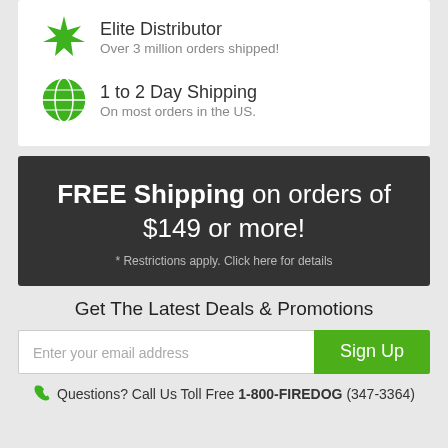Elite Distributor
Over 3 million orders shipped!
1 to 2 Day Shipping
On most orders in the US.
FREE Shipping on orders of $149 or more!
* Restrictions apply. Click here for details
Get The Latest Deals & Promotions
Enter your email address
Sign Up
Questions? Call Us Toll Free 1-800-FIREDOG (347-3364)